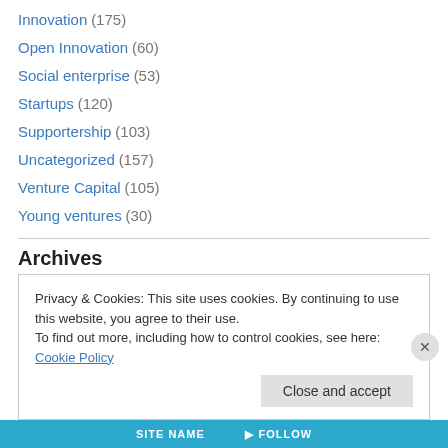Innovation (175)
Open Innovation (60)
Social enterprise (53)
Startups (120)
Supportership (103)
Uncategorized (157)
Venture Capital (105)
Young ventures (30)
Archives
Select Month
Privacy & Cookies: This site uses cookies. By continuing to use this website, you agree to their use.
To find out more, including how to control cookies, see here: Cookie Policy
Close and accept